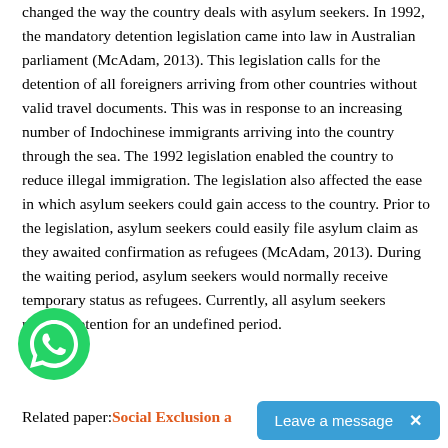changed the way the country deals with asylum seekers. In 1992, the mandatory detention legislation came into law in Australian parliament (McAdam, 2013). This legislation calls for the detention of all foreigners arriving from other countries without valid travel documents. This was in response to an increasing number of Indochinese immigrants arriving into the country through the sea. The 1992 legislation enabled the country to reduce illegal immigration. The legislation also affected the ease in which asylum seekers could gain access to the country. Prior to the legislation, asylum seekers could easily file asylum claim as they awaited confirmation as refugees (McAdam, 2013). During the waiting period, asylum seekers would normally receive temporary status as refugees. Currently, all asylum seekers receive detention for an undefined period.
[Figure (logo): WhatsApp chat button icon — green circle with white phone/speech-bubble logo]
Related paper: Social Exclusion a…
Leave a message ×